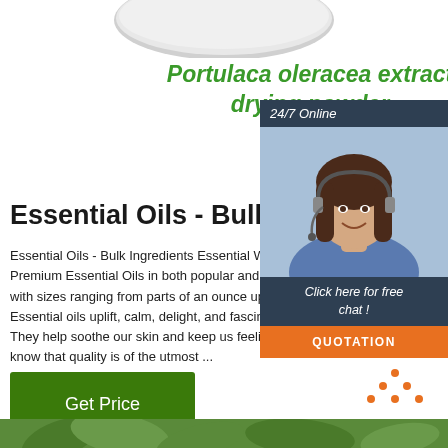[Figure (photo): Partial view of a round bowl or plate with white powder (Portulaca oleracea extract drying powder) at the top of the page]
Portulaca oleracea extract drying powder
[Figure (infographic): Customer service chat widget showing a woman with headset, '24/7 Online' banner, 'Click here for free chat!' text, and orange QUOTATION button]
Essential Oils - Bulk Ingredi
Essential Oils - Bulk Ingredients Essential Whole Premium Essential Oils in both popular and unus with sizes ranging from parts of an ounce up to 3 Essential oils uplift, calm, delight, and fascinate o They help soothe our skin and keep us feeling ou know that quality is of the utmost ...
[Figure (illustration): Orange 'TOP' button with dots forming an upward arrow/triangle above the word TOP]
[Figure (photo): Bottom strip showing green leaves/plant material]
Get Price